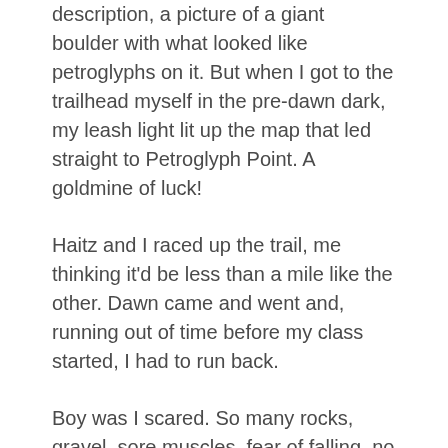description, a picture of a giant boulder with what looked like petroglyphs on it. But when I got to the trailhead myself in the pre-dawn dark, my leash light lit up the map that led straight to Petroglyph Point. A goldmine of luck!
Haitz and I raced up the trail, me thinking it'd be less than a mile like the other. Dawn came and went and, running out of time before my class started, I had to run back.
Boy was I scared. So many rocks, gravel, sore muscles, fear of falling, no experience.
And, despite searching along the sketchy boulders at the peak, I never could find any petroglyphs, and I was beginning to think it was all a scam.